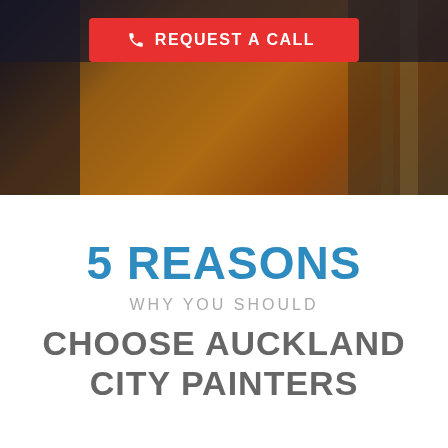[Figure (photo): Background photo of a painted interior/exterior home scene with warm orange and brown tones, partially darkened at top]
REQUEST A CALL
5 REASONS
WHY YOU SHOULD
CHOOSE AUCKLAND CITY PAINTERS